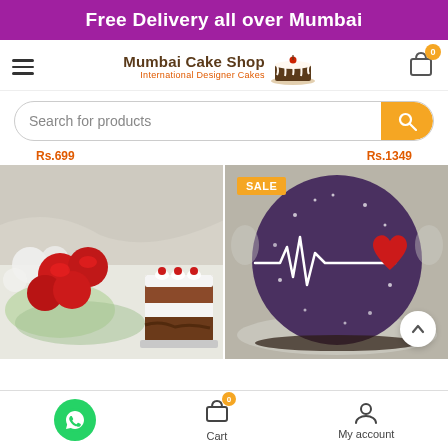Free Delivery all over Mumbai
[Figure (screenshot): Mumbai Cake Shop logo with cake icon and text 'International Designer Cakes']
Search for products
Rs.699  Rs.1349
[Figure (photo): Red roses with baby's breath flowers and a slice of black forest cake]
[Figure (photo): Dark chocolate cake with heartbeat line and red heart decoration, SALE badge]
Cart  My account